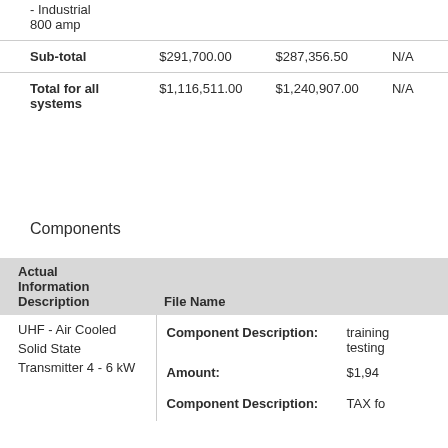|  |  |  |  |
| --- | --- | --- | --- |
| - Industrial
800 amp |  |  |  |
| Sub-total | $291,700.00 | $287,356.50 | N/A |
| Total for all systems | $1,116,511.00 | $1,240,907.00 | N/A |
Components
| Actual Information
Description | File Name |
| --- | --- |
| UHF - Air Cooled Solid State Transmitter 4 - 6 kW | Component Description: training testing
Amount: $1,94
Component Description: TAX fo |